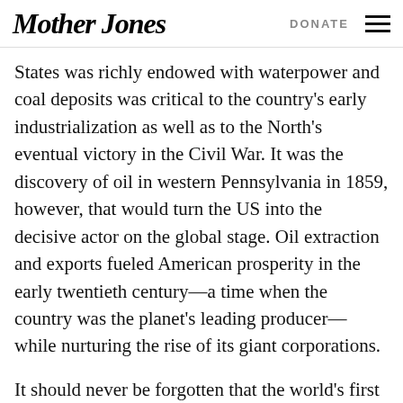Mother Jones | DONATE
States was richly endowed with waterpower and coal deposits was critical to the country's early industrialization as well as to the North's eventual victory in the Civil War. It was the discovery of oil in western Pennsylvania in 1859, however, that would turn the US into the decisive actor on the global stage. Oil extraction and exports fueled American prosperity in the early twentieth century—a time when the country was the planet's leading producer—while nurturing the rise of its giant corporations.
It should never be forgotten that the world's first great transnational corporation—John D. Rockefeller's Standard Oil Company—was founded on the exploitation and export of American